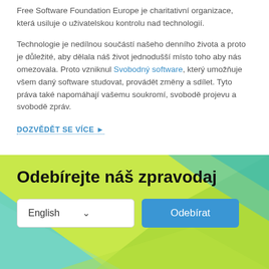Free Software Foundation Europe je charitativní organizace, která usiluje o uživatelskou kontrolu nad technologií.
Technologie je nedílnou součástí našeho denního života a proto je důležité, aby dělala náš život jednodušší místo toho aby nás omezovala. Proto vzniknul Svobodný software, který umožňuje všem daný software studovat, provádět změny a sdílet. Tyto práva také napomáhají vašemu soukromí, svobodě projevu a svobodě zpráv.
DOZVĚDĚT SE VÍCE ►
[Figure (infographic): Green and teal wave/polygon background banner for newsletter subscription section]
Odebírejte náš zpravodaj
English  ∨  [Odebírat button]